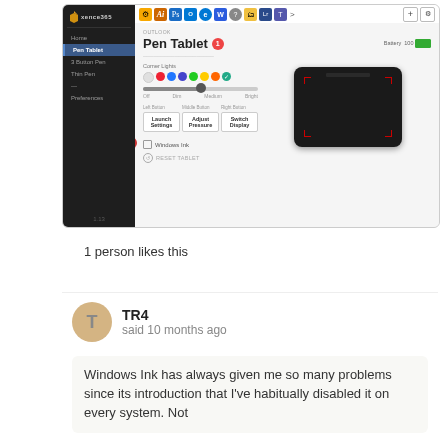[Figure (screenshot): Screenshot of Xence365 Pen Tablet driver settings UI showing sidebar navigation, corner lights color selector, brightness slider, tablet device image, button assignments (Left: Launch Settings, Middle: Adjust Pressure, Right: Switch Display), Windows Ink checkbox, and Reset Tablet option. Numbered callout badges 1 and 2 are visible.]
1 person likes this
TR4
said 10 months ago
Windows Ink has always given me so many problems since its introduction that I've habitually disabled it on every system. Not